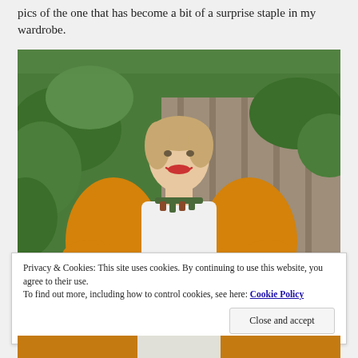pics of the one that has become a bit of a surprise staple in my wardrobe.
[Figure (photo): Woman smiling outdoors, wearing an orange/mustard cardigan over a white top with a statement necklace, standing in front of green foliage and a wooden fence]
Privacy & Cookies: This site uses cookies. By continuing to use this website, you agree to their use.
To find out more, including how to control cookies, see here: Cookie Policy
Close and accept
[Figure (photo): Partial view of a person wearing an orange cardigan, cropped at bottom of page]